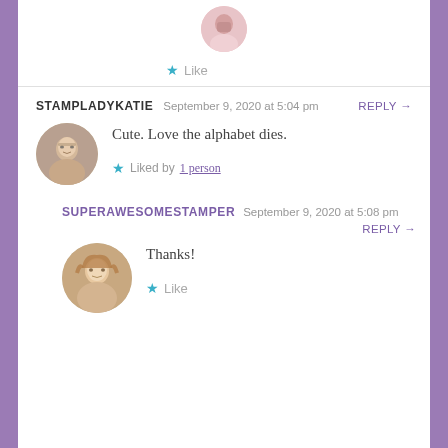[Figure (photo): Partial circular avatar photo of a person at the top of the page]
Like
STAMPLADYKATIE   September 9, 2020 at 5:04 pm   REPLY →
[Figure (photo): Circular avatar photo of an older woman with glasses]
Cute. Love the alphabet dies.
Liked by 1 person
SUPERAWESOMESTAMPER   September 9, 2020 at 5:08 pm   REPLY →
[Figure (photo): Circular avatar photo of a young woman with long brown hair]
Thanks!
Like